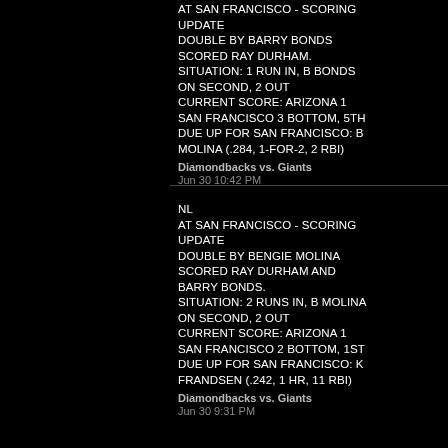AT SAN FRANCISCO - SCORING UPDATE
DOUBLE BY BARRY BONDS SCORED RAY DURHAM.
SITUATION: 1 RUN IN, B BONDS ON SECOND, 2 OUT
CURRENT SCORE: ARIZONA 1 SAN FRANCISCO 3 BOTTOM, 5TH
DUE UP FOR SAN FRANCISCO: B MOLINA (.284, 1-FOR-2, 2 RBI)
Diamondbacks vs. Giants
Jun 30 10:42 PM
NL
AT SAN FRANCISCO - SCORING UPDATE
DOUBLE BY BENGIE MOLINA SCORED RAY DURHAM AND BARRY BONDS.
SITUATION: 2 RUNS IN, B MOLINA ON SECOND, 2 OUT
CURRENT SCORE: ARIZONA 1 SAN FRANCISCO 2 BOTTOM, 1ST
DUE UP FOR SAN FRANCISCO: K FRANDSEN (.242, 1 HR, 11 RBI)
Diamondbacks vs. Giants
Jun 30 9:31 PM